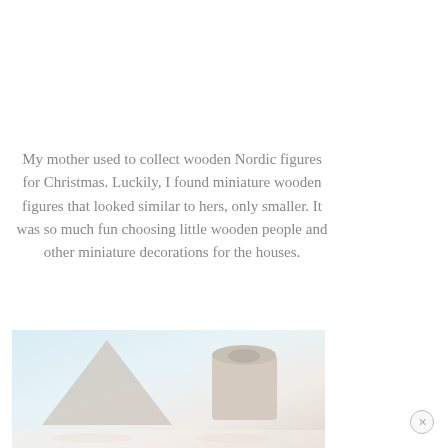My mother used to collect wooden Nordic figures for Christmas. Luckily, I found miniature wooden figures that looked similar to hers, only smaller. It was so much fun choosing little wooden people and other miniature decorations for the houses.
[Figure (photo): Photo of miniature wooden Nordic figures and decorations against a light blue-white background, showing a wooden house shape and cylindrical objects]